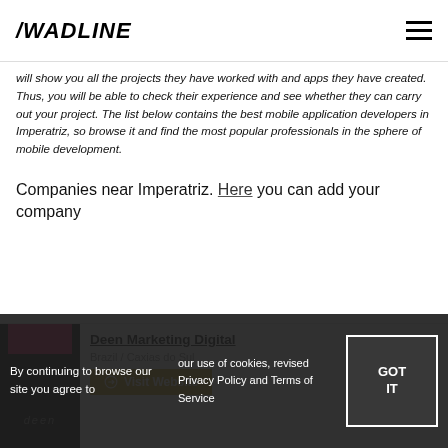/WADLINE
will show you all the projects they have worked with and apps they have created. Thus, you will be able to check their experience and see whether they can carry out your project. The list below contains the best mobile application developers in Imperatriz, so browse it and find the most popular professionals in the sphere of mobile development.
Companies near Imperatriz. Here you can add your company
[Figure (logo): Deen Marketing Digital company logo — dark background with pink bar and stylized 'deen' text]
Deen Marketing Digital
Brazil / Caxias do Sul
Visit Website
By continuing to browse our site you agree to
our use of cookies, revised Privacy Policy and Terms of Service
GOT IT